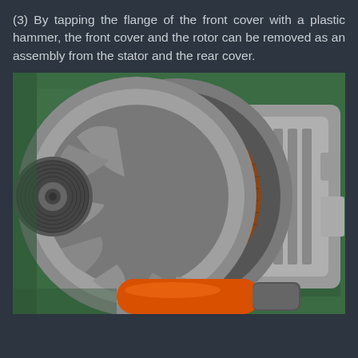(3) By tapping the flange of the front cover with a plastic hammer, the front cover and the rotor can be removed as an assembly from the stator and the rear cover.
[Figure (photo): Photo of a disassembled alternator showing the front cover, rotor with copper windings, stator, and rear cover being separated. An orange-handled plastic hammer is visible at the bottom of the image being used to tap the alternator apart. The alternator is resting on a green workbench surface.]